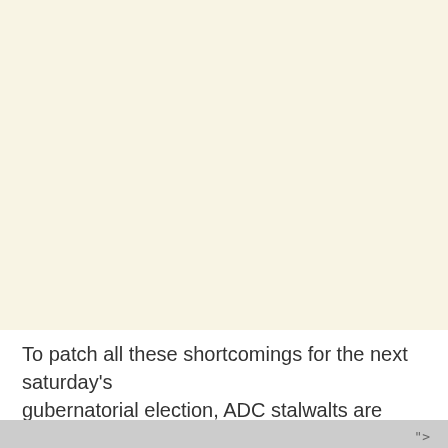To patch all these shortcomings for the next saturday's gubernatorial election, ADC stalwalts are pushing tacuhos
">